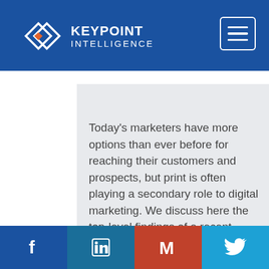KEYPOINT INTELLIGENCE
Today's marketers have more options than ever before for reaching their customers and prospects, but print is often playing a secondary role to digital marketing. We discuss here the top-level findings of a recent Keypoint Intelligence survey of 201 ...
Facebook | LinkedIn | Gmail | Twitter